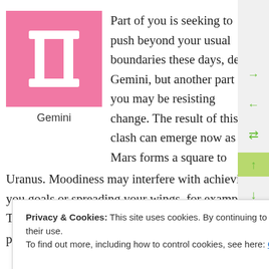[Figure (illustration): Pink square with white Gemini zodiac symbol (two vertical columns connected at top and bottom) centered inside]
Gemini
Part of you is seeking to push beyond your usual boundaries these days, dear Gemini, but another part of you may be resisting change. The result of this clash can emerge now as Mars forms a square to Uranus. Moodiness may interfere with achieving your goals or spreading your wings, for example. This ca...
push something that isn't ready to move. Consider
Privacy & Cookies: This site uses cookies. By continuing to use this website, you agree to their use.
To find out more, including how to control cookies, see here: Cookie Policy